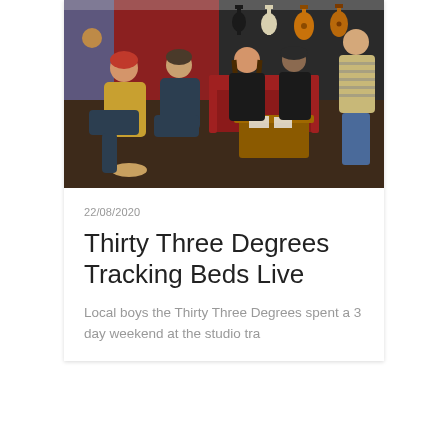[Figure (photo): Five people in a music studio lounge area. Guitars hang on the wall in the background. A red sofa and wooden coffee table are visible. People are seated and standing casually.]
22/08/2020
Thirty Three Degrees Tracking Beds Live
Local boys the Thirty Three Degrees spent a 3 day weekend at the studio tra